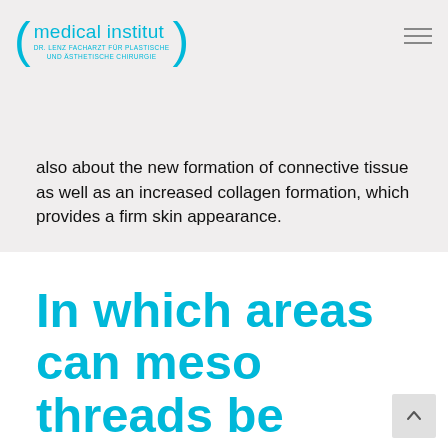medical institut — DR. LENZ FACHARZT FÜR PLASTISCHE UND ÄSTHETISCHE CHIRURGIE
also about the new formation of connective tissue as well as an increased collagen formation, which provides a firm skin appearance.
In which areas can meso threads be used?